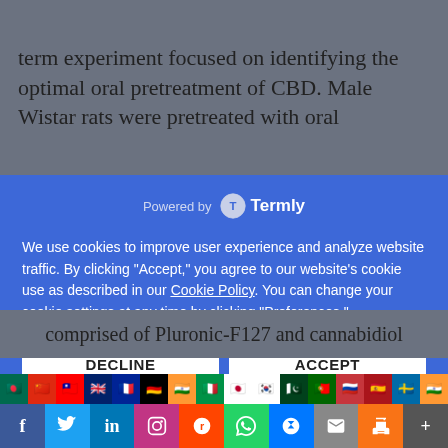term experiment focused on identifying the optimal oral pretreatment of CBD. Male Wistar rats were pretreated with oral
Powered by Termly
We use cookies to improve user experience and analyze website traffic. By clicking “Accept,” you agree to our website’s cookie use as described in our Cookie Policy. You can change your cookie settings at any time by clicking “Preferences.”
DECLINE
ACCEPT
PREFERENCES
comprised of Pluronic-F127 and cannabidiol
[Figure (infographic): Language flags bar with multiple country flags including Bangladesh, China, Taiwan, UK, France, Germany, India, Italy, Japan, Korea, Pakistan, Portugal, Russia, Spain, Sweden, India]
[Figure (infographic): Social media sharing buttons bar including Facebook, Twitter, LinkedIn, Instagram, Reddit, WhatsApp, Messenger, Email, Print, More]